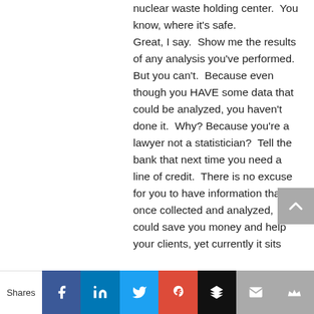nuclear waste holding center.  You know, where it's safe.

Great, I say.  Show me the results of any analysis you've performed.  But you can't.  Because even though you HAVE some data that could be analyzed, you haven't done it.  Why?  Because you're a lawyer not a statistician?  Tell the bank that next time you need a line of credit.  There is no excuse for you to have information that, once collected and analyzed, could save you money and help your clients, yet currently it sits
Shares [Facebook] [LinkedIn] [Twitter] [Google+] [Buffer] [Mail] [Crown]